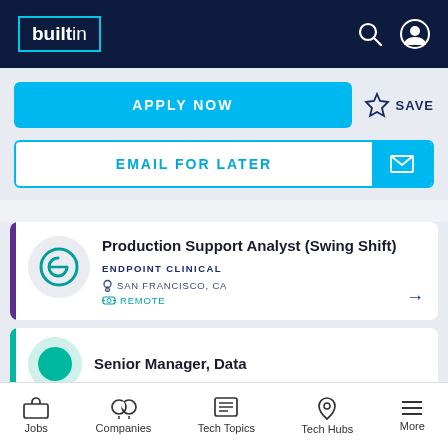builtin
APPLY NOW
SAVE
EMAIL FOR LATER
Production Support Analyst (Swing Shift)
ENDPOINT CLINICAL
SAN FRANCISCO, CA
REMOTE
Senior Manager, Data
Jobs | Companies | Tech Topics | Tech Hubs | More